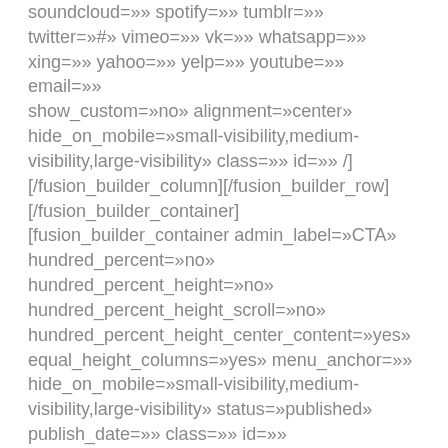soundcloud=»» spotify=»» tumblr=»» twitter=»#» vimeo=»» vk=»» whatsapp=»» xing=»» yahoo=»» yelp=»» youtube=»» email=»» show_custom=»no» alignment=»center» hide_on_mobile=»small-visibility,medium-visibility,large-visibility» class=»» id=»» /][/fusion_builder_column][/fusion_builder_row][/fusion_builder_container][fusion_builder_container admin_label=»CTA» hundred_percent=»no» hundred_percent_height=»no» hundred_percent_height_scroll=»no» hundred_percent_height_center_content=»yes» equal_height_columns=»yes» menu_anchor=»» hide_on_mobile=»small-visibility,medium-visibility,large-visibility» status=»published» publish_date=»» class=»» id=»»